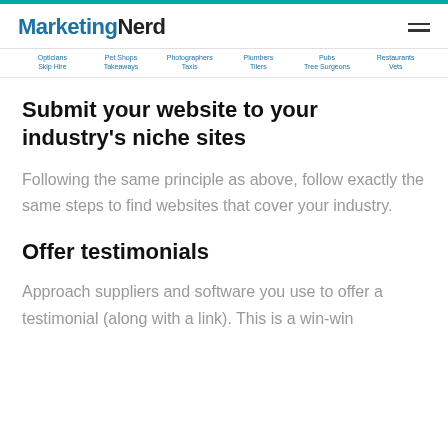MarketingNerd
[Figure (screenshot): Navigation menu with category links: Opticians, Pet Shops, Photographers, Plumbers, Pubs, Restaurants, Skip Hire, Takeaways, Taxis, Tilers, Tree Surgeons, Vets]
Submit your website to your industry's niche sites
Following the same principle as above, follow exactly the same steps to find websites that cover your industry.
Offer testimonials
Approach suppliers and software you use to offer a testimonial (along with a link). This is a win-win